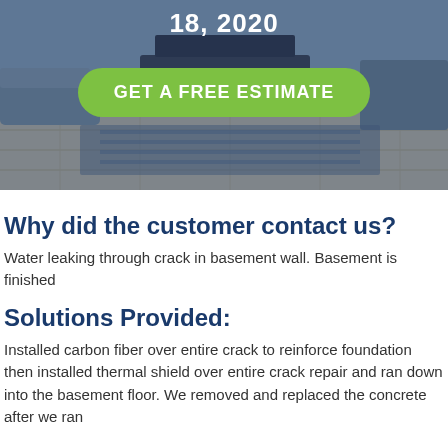[Figure (photo): Hero image of a living room interior with hardwood flooring, partially obscured by a blue overlay. Shows a date '18, 2020' at the top and a green 'GET A FREE ESTIMATE' button.]
Why did the customer contact us?
Water leaking through crack in basement wall. Basement is finished
Solutions Provided:
Installed carbon fiber over entire crack to reinforce foundation then installed thermal shield over entire crack repair and ran down into the basement floor. We removed and replaced the concrete after we ran